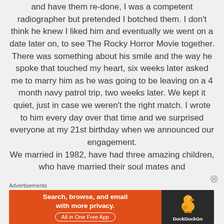and have them re-done, I was a competent radiographer but pretended I botched them. I don't think he knew I liked him and eventually we went on a date later on, to see The Rocky Horror Movie together. There was something about his smile and the way he spoke that touched my heart, six weeks later asked me to marry him as he was going to be leaving on a 4 month navy patrol trip, two weeks later. We kept it quiet, just in case we weren't the right match. I wrote to him every day over that time and we surprised everyone at my 21st birthday when we announced our engagement. We married in 1982, have had three amazing children, who have married their soul mates and
Advertisements
[Figure (other): DuckDuckGo advertisement banner: orange section on left with text 'Search, browse, and email with more privacy. All in One Free App' and dark section on right with DuckDuckGo duck logo and brand name.]